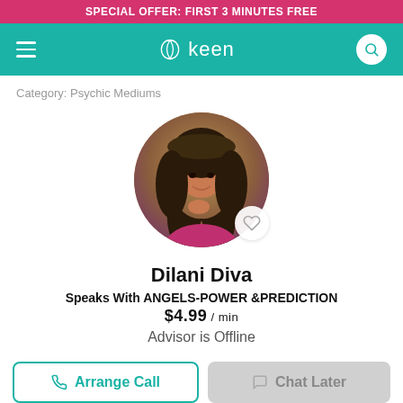SPECIAL OFFER: FIRST 3 MINUTES FREE
[Figure (logo): Keen app logo with teal navbar, hamburger menu on left, Keen wordmark with leaf icon in center, search icon on right]
Category: Psychic Mediums
[Figure (photo): Circular profile photo of Dilani Diva, a woman with long dark hair wearing a hat, smiling. Heart/favorite icon in bottom right of circle.]
Dilani Diva
Speaks With ANGELS-POWER &PREDICTION
$4.99 / min
Advisor is Offline
Arrange Call
Chat Later